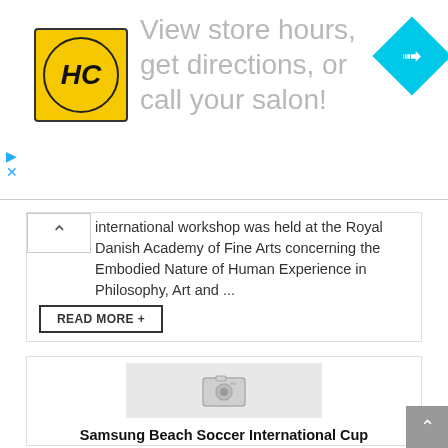[Figure (infographic): Advertisement banner with HC logo on yellow background, text 'View store hours, get directions, or call your salon!' in gray, and a cyan diamond-shaped turn icon on the right.]
international workshop was held at the Royal Danish Academy of Fine Arts concerning the Embodied Nature of Human Experience in Philosophy, Art and ...
READ MORE +
[Figure (photo): Placeholder image with camera icon for Samsung Beach Soccer International Cup article]
Samsung Beach Soccer International Cup